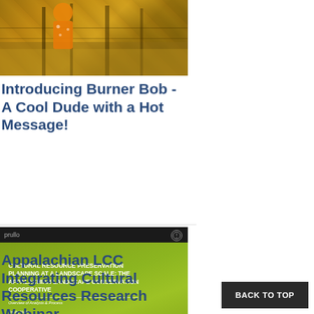[Figure (photo): Outdoor photograph showing a person in an orange/yellow jacket or gear among trees and dry grass]
Introducing Burner Bob - A Cool Dude with a Hot Message!
[Figure (screenshot): Screenshot of a presentation slide with dark top bar and green background reading: CULTURAL RESOURCE PRESERVATION PLANNING AT A LANDSCAPE SCALE: THE APPALACHIAN LANDSCAPE CONSERVATION COOPERATIVE - Overview of Analysis & Process, with author names including Timothy Murtha, Madamer Felverson, Sarah Shaffer, Paul Memorial, Larry Goldberg, The Center for Community Design, The Pennsylvania State University]
Appalachian LCC Integrating Cultural Resources Research Webinar